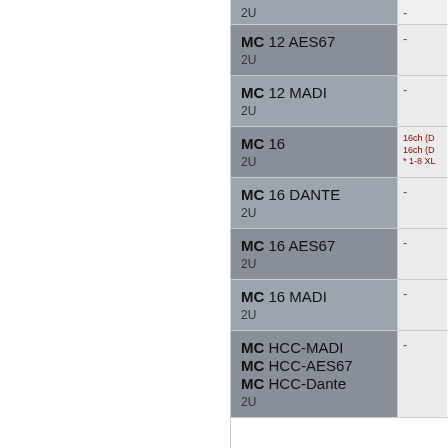| Product | Info |
| --- | --- |
| MC 12 AES67 2U | - |
| MC 12 MADI 2U | - |
| MC 16 2U | 16ch (D
16ch (D
* 1-8 XL |
| MC 16 DANTE 2U | - |
| MC 16 AES67 2U | - |
| MC 16 MADI 2U | - |
| MC HCC-MADI / MC HCC-AES67 / MC HCC-Dante 2U | - |